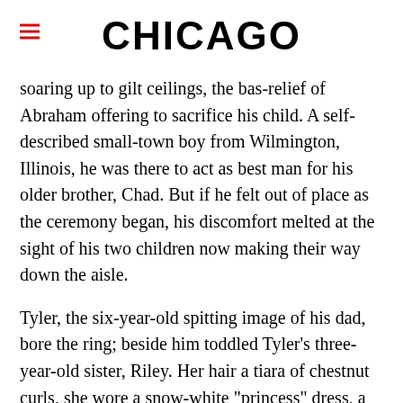CHICAGO
soaring up to gilt ceilings, the bas-relief of Abraham offering to sacrifice his child. A self-described small-town boy from Wilmington, Illinois, he was there to act as best man for his older brother, Chad. But if he felt out of place as the ceremony began, his discomfort melted at the sight of his two children now making their way down the aisle.
Tyler, the six-year-old spitting image of his dad, bore the ring; beside him toddled Tyler's three-year-old sister, Riley. Her hair a tiara of chestnut curls, she wore a snow-white "princess" dress, a gossamer confection of satin and lace over white satin slippers. Reaching into a tiny white basket, she doled